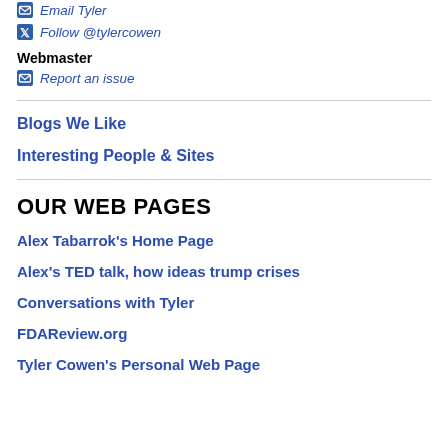Email Tyler
Follow @tylercowen
Webmaster
Report an issue
Blogs We Like
Interesting People & Sites
OUR WEB PAGES
Alex Tabarrok's Home Page
Alex's TED talk, how ideas trump crises
Conversations with Tyler
FDAReview.org
Tyler Cowen's Personal Web Page